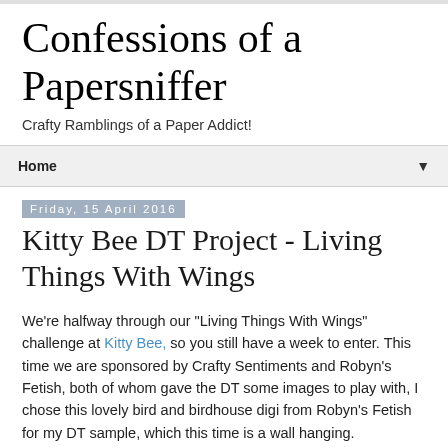Confessions of a Papersniffer
Crafty Ramblings of a Paper Addict!
Home ▼
Friday, 15 April 2016
Kitty Bee DT Project - Living Things With Wings
We're halfway through our "Living Things With Wings" challenge at Kitty Bee, so you still have a week to enter. This time we are sponsored by Crafty Sentiments and Robyn's Fetish, both of whom gave the DT some images to play with, I chose this lovely bird and birdhouse digi from Robyn's Fetish for my DT sample, which this time is a wall hanging.